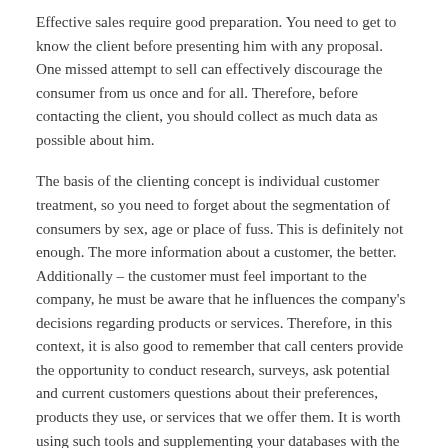Effective sales require good preparation. You need to get to know the client before presenting him with any proposal. One missed attempt to sell can effectively discourage the consumer from us once and for all. Therefore, before contacting the client, you should collect as much data as possible about him.
The basis of the clienting concept is individual customer treatment, so you need to forget about the segmentation of consumers by sex, age or place of fuss. This is definitely not enough. The more information about a customer, the better. Additionally – the customer must feel important to the company, he must be aware that he influences the company's decisions regarding products or services. Therefore, in this context, it is also good to remember that call centers provide the opportunity to conduct research, surveys, ask potential and current customers questions about their preferences, products they use, or services that we offer them. It is worth using such tools and supplementing your databases with the collected information and using them in the future.